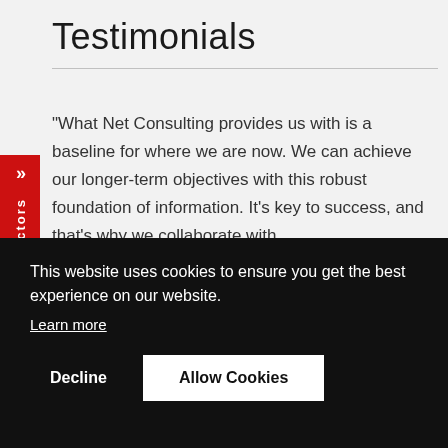Testimonials
"What Net Consulting provides us with is a baseline for where we are now. We can achieve our longer-term objectives with this robust foundation of information. It's key to success, and that's why we collaborate with
This website uses cookies to ensure you get the best experience on our website.
Learn more
Decline
Allow Cookies